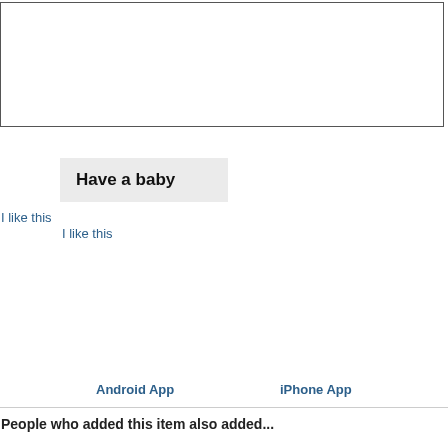[Figure (other): Empty bordered rectangle at top of page, likely an image or content placeholder]
Have a baby
I like this
I like this
Android App
iPhone App
People who added this item also added...